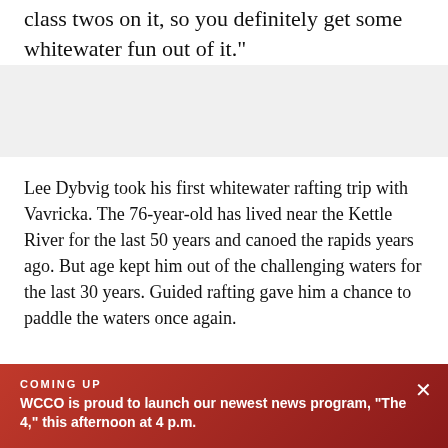class twos on it, so you definitely get some whitewater fun out of it."
Lee Dybvig took his first whitewater rafting trip with Vavricka. The 76-year-old has lived near the Kettle River for the last 50 years and canoed the rapids years ago. But age kept him out of the challenging waters for the last 30 years. Guided rafting gave him a chance to paddle the waters once again.
COMING UP
WCCO is proud to launch our newest news program, "The 4," this afternoon at 4 p.m.